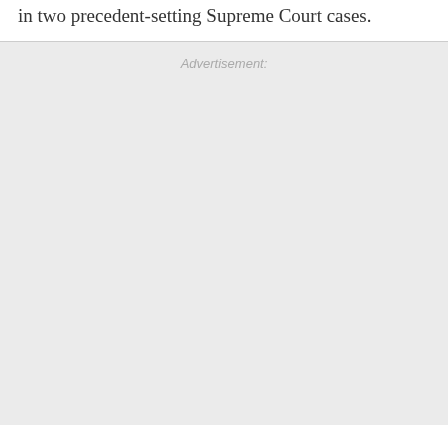in two precedent-setting Supreme Court cases.
Advertisement: